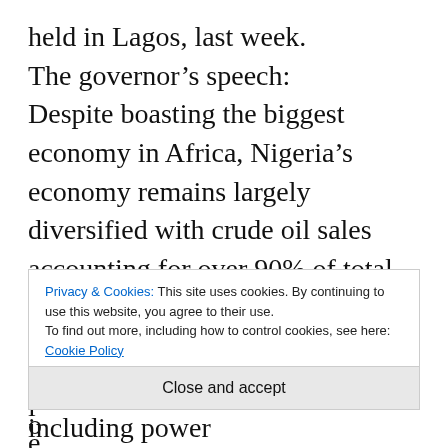held in Lagos, last week.
The governor’s speech:
Despite boasting the biggest economy in Africa, Nigeria’s economy remains largely diversified with crude oil sales accounting for over 90% of total revenue. As a result, our economy is always vulnerable to volatilities in the international oil market coupled with the impact of many years of corruption and wastages. This is the reason
Privacy & Cookies: This site uses cookies. By continuing to use this website, you agree to their use. To find out more, including how to control cookies, see here: Cookie Policy
Close and accept
critical sectors of the economy including power